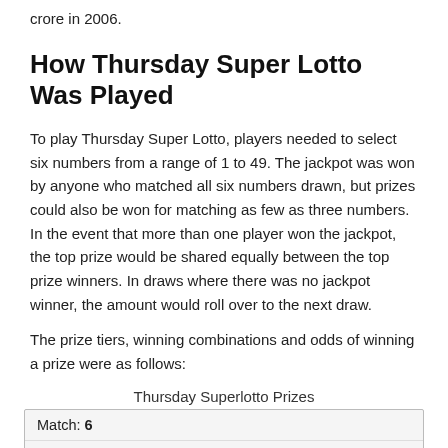crore in 2006.
How Thursday Super Lotto Was Played
To play Thursday Super Lotto, players needed to select six numbers from a range of 1 to 49. The jackpot was won by anyone who matched all six numbers drawn, but prizes could also be won for matching as few as three numbers. In the event that more than one player won the jackpot, the top prize would be shared equally between the top prize winners. In draws where there was no jackpot winner, the amount would roll over to the next draw.
The prize tiers, winning combinations and odds of winning a prize were as follows:
Thursday Superlotto Prizes
| Match: | Odds: |
| --- | --- |
| 6 | 1 in 13,983,816 |